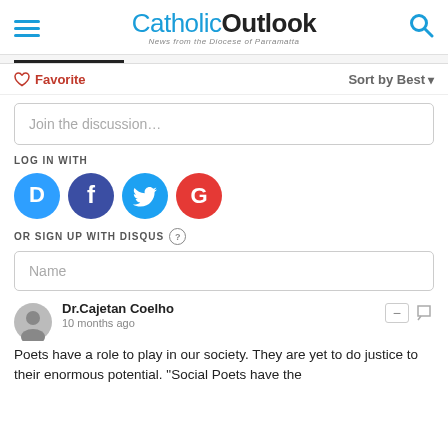CatholicOutlook — News from the Diocese of Parramatta
Favorite   Sort by Best
Join the discussion…
LOG IN WITH
[Figure (logo): Social login icons: Disqus (blue), Facebook (dark blue), Twitter (light blue), Google (red)]
OR SIGN UP WITH DISQUS
Name
Dr.Cajetan Coelho
10 months ago
Poets have a role to play in our society. They are yet to do justice to their enormous potential. "Social Poets have the